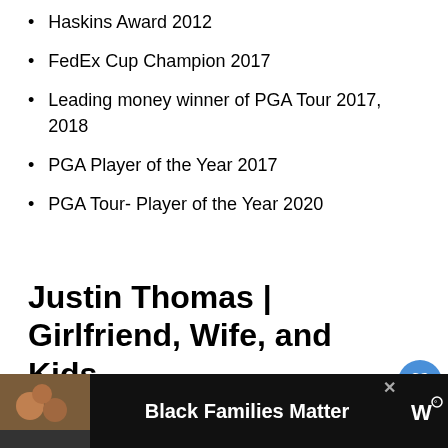Haskins Award 2012
FedEx Cup Champion 2017
Leading money winner of PGA Tour 2017, 2018
PGA Player of the Year 2017
PGA Tour- Player of the Year 2020
Justin Thomas | Girlfriend, Wife, and Kids
Justin is not married. However, he does have a relationship with one of his girlfriends. Jillian
[Figure (other): Advertisement banner at the bottom showing a photo of a family (Black Families Matter ad) with 'Black Families Matter' text in white bold on black background, and a W logo on the right.]